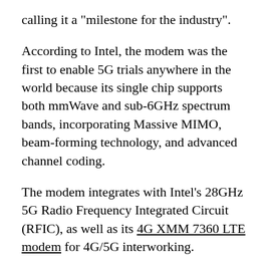calling it a "milestone for the industry".
According to Intel, the modem was the first to enable 5G trials anywhere in the world because its single chip supports both mmWave and sub-6GHz spectrum bands, incorporating Massive MIMO, beam-forming technology, and advanced channel coding.
The modem integrates with Intel's 28GHz 5G Radio Frequency Integrated Circuit (RFIC), as well as its 4G XMM 7360 LTE modem for 4G/5G interworking.
Intel also used its CES announcement to launch its 5G-ready GO platform, which is intended to help